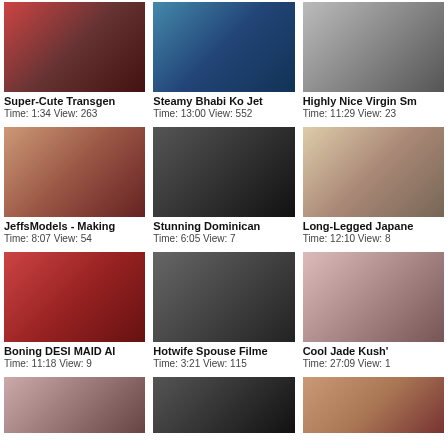[Figure (photo): Thumbnail image row 1 col 1]
Super-Cute Transgen
Time: 1:34 View: 263
[Figure (photo): Thumbnail image row 1 col 2]
Steamy Bhabi Ko Jet
Time: 13:00 View: 552
[Figure (photo): Thumbnail image row 1 col 3]
Highly Nice Virgin Sm
Time: 11:29 View: 23
[Figure (photo): Thumbnail image row 2 col 1]
JeffsModels - Making
Time: 8:07 View: 54
[Figure (photo): Thumbnail image row 2 col 2]
Stunning Dominican
Time: 6:05 View: 7
[Figure (photo): Thumbnail image row 2 col 3]
Long-Legged Japane
Time: 12:10 View: 8
[Figure (photo): Thumbnail image row 3 col 1]
Boning DESI MAID Al
Time: 11:18 View: 9
[Figure (photo): Thumbnail image row 3 col 2]
Hotwife Spouse Filme
Time: 3:21 View: 115
[Figure (photo): Thumbnail image row 3 col 3]
Cool Jade Kush&#39;
Time: 27:09 View: 1
[Figure (photo): Thumbnail image row 4 col 1]
[Figure (photo): Thumbnail image row 4 col 2]
[Figure (photo): Thumbnail image row 4 col 3]